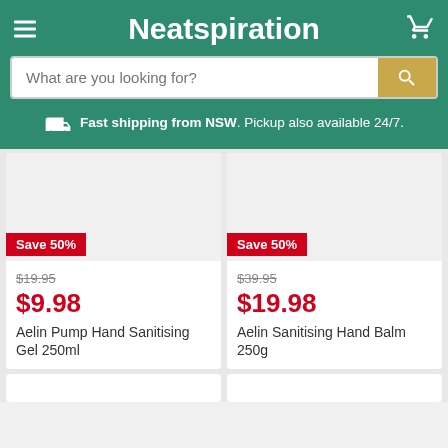Neatspiration
What are you looking for?
Fast shipping from NSW. Pickup also available 24/7.
Save 50%
$19.95
$9.98
Aelin Pump Hand Sanitising Gel 250ml
Save 50%
$39.95
$19.98
Aelin Sanitising Hand Balm 250g